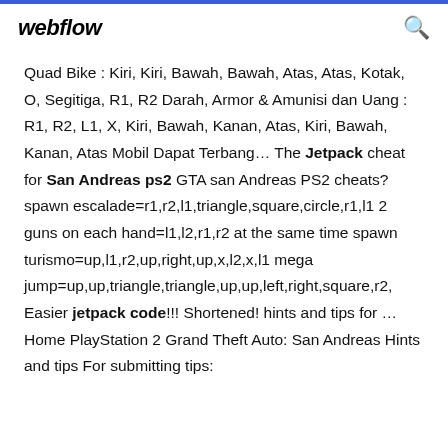webflow
Quad Bike : Kiri, Kiri, Bawah, Bawah, Atas, Atas, Kotak, O, Segitiga, R1, R2 Darah, Armor & Amunisi dan Uang : R1, R2, L1, X, Kiri, Bawah, Kanan, Atas, Kiri, Bawah, Kanan, Atas Mobil Dapat Terbang… The Jetpack cheat for San Andreas ps2 GTA san Andreas PS2 cheats? spawn escalade=r1,r2,l1,triangle,square,circle,r1,l1 2 guns on each hand=l1,l2,r1,r2 at the same time spawn turismo=up,l1,r2,up,right,up,x,l2,x,l1 mega jump=up,up,triangle,triangle,up,up,left,right,square,r2, Easier jetpack code!!! Shortened! hints and tips for … Home PlayStation 2 Grand Theft Auto: San Andreas Hints and tips For submitting tips: